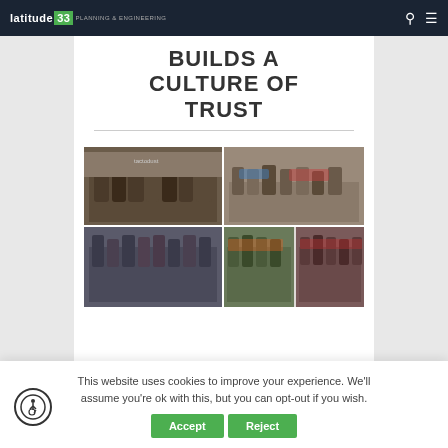latitude 33 PLANNING & ENGINEERING
BUILDS A CULTURE OF TRUST
[Figure (photo): Collage of group photos showing teams of people at various outdoor events and activities]
This website uses cookies to improve your experience. We'll assume you're ok with this, but you can opt-out if you wish.
Accept  Reject